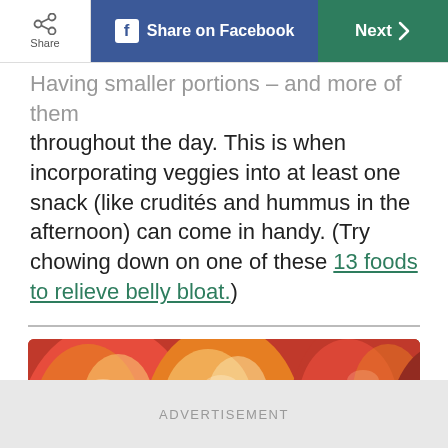Share | Share on Facebook | Next
Having smaller portions – and more of them throughout the day. This is when incorporating veggies into at least one snack (like crudités and hummus in the afternoon) can come in handy. (Try chowing down on one of these 13 foods to relieve belly bloat.)
[Figure (photo): Close-up photograph of several red, orange, and yellow mangoes with green tints]
ADVERTISEMENT